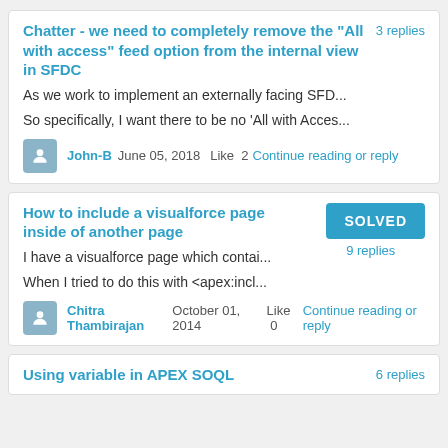Chatter - we need to completely remove the "All with access" feed option from the internal view in SFDC
As we work to implement an externally facing SFD...
So specifically, I want there to be no 'All with Acces...
John-B  June 05, 2018  Like 2  Continue reading or reply
How to include a visualforce page inside of another page
I have a visualforce page which contai...
When I tried to do this with <apex:incl...
Chitra Thambirajan  October 01, 2014  Like 0  Continue reading or reply
Using variable in APEX SOQL